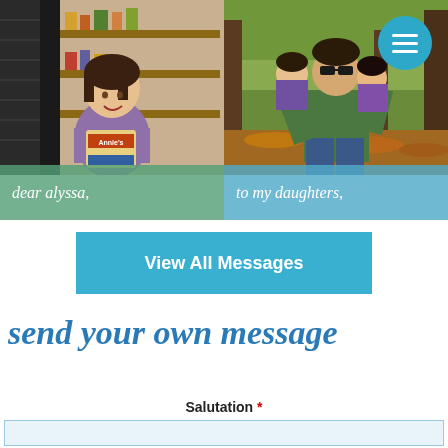[Figure (photo): Young girl smiling in a store holding a product box, with refrigerated shelves in background. Green semi-transparent banner at bottom reads 'dear alyssa,']
[Figure (photo): Man holding two young daughters outdoors in a wooded area with autumn leaves on ground. Blue semi-transparent banner at bottom reads 'to my daughters,'. Teal hamburger menu circle icon in top right corner.]
View All Messages
send your own message
Salutation *